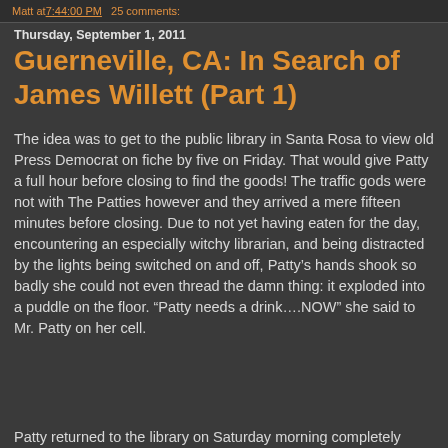Matt at 7:44:00 PM   25 comments:
Thursday, September 1, 2011
Guerneville, CA: In Search of James Willett (Part 1)
The idea was to get to the public library in Santa Rosa to view old Press Democrat on fiche by five on Friday. That would give Patty a full hour before closing to find the goods! The traffic gods were not with The Patties however and they arrived a mere fifteen minutes before closing. Due to not yet having eaten for the day, encountering an especially witchy librarian, and being distracted by the lights being switched on and off, Patty’s hands shook so badly she could not even thread the damn thing: it exploded into a puddle on the floor. “Patty needs a drink….NOW” she said to Mr. Patty on her cell.
Patty returned to the library on Saturday morning completely